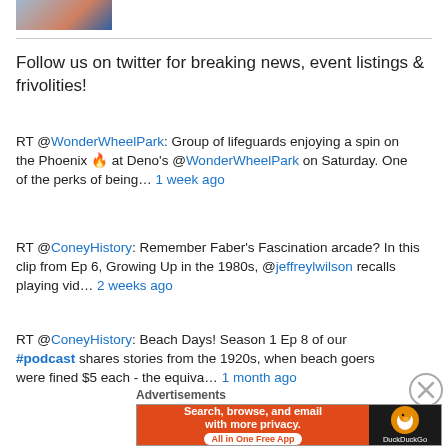[Figure (photo): Partial photo strip at top of page]
Follow us on twitter for breaking news, event listings & frivolities!
RT @WonderWheelPark: Group of lifeguards enjoying a spin on the Phoenix 🔥 at Deno's @WonderWheelPark on Saturday. One of the perks of being… 1 week ago
RT @ConeyHistory: Remember Faber's Fascination arcade? In this clip from Ep 6, Growing Up in the 1980s, @jeffreylwilson recalls playing vid… 2 weeks ago
RT @ConeyHistory: Beach Days! Season 1 Ep 8 of our #podcast shares stories from the 1920s, when beach goers were fined $5 each - the equiva… 1 month ago
Advertisements
[Figure (screenshot): DuckDuckGo advertisement banner: Search, browse, and email with more privacy. All in One Free App]